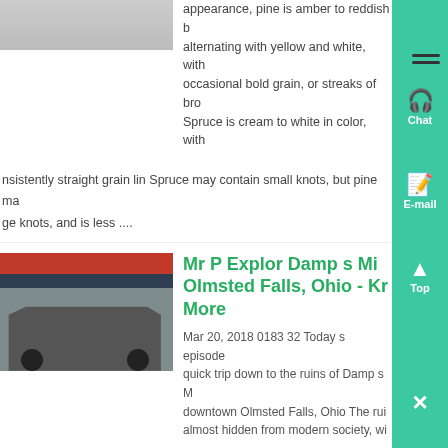[Figure (photo): Partial image of a surface or material at the top of page]
appearance, pine is amber to reddish b... alternating with yellow and white, with occasional bold grain, or streaks of bro... Spruce is cream to white in color, with...
nsistently straight grain lin Spruce may contain small knots, but pine ma... ge knots, and is less ....
[Figure (photo): Photo of a large industrial mobile crushing/mining machine parked outside a warehouse building]
Mr P Explor Damp s Mi... Olmsted Falls, Ohio - Kn... More
Mar 20, 2018 0183 32 Today s episode... quick trip down to the ruins of Damp s M... downtown Olmsted Falls, Ohio The rui... almost hidden from modern society, wi...
[Figure (photo): Photo of a vacuum or cleaning device on a textured/woven reddish-brown floor surface]
500ml Scented Dehumic... Interior Damp Moisture Mould , - Know More